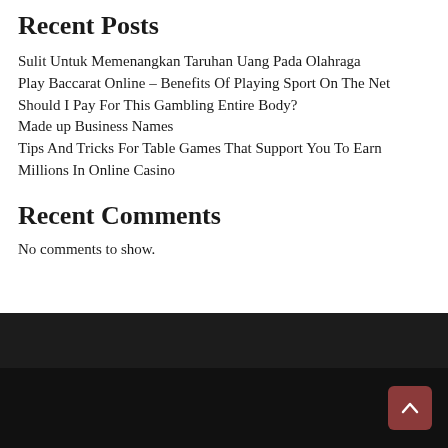Recent Posts
Sulit Untuk Memenangkan Taruhan Uang Pada Olahraga
Play Baccarat Online – Benefits Of Playing Sport On The Net
Should I Pay For This Gambling Entire Body?
Made up Business Names
Tips And Tricks For Table Games That Support You To Earn Millions In Online Casino
Recent Comments
No comments to show.